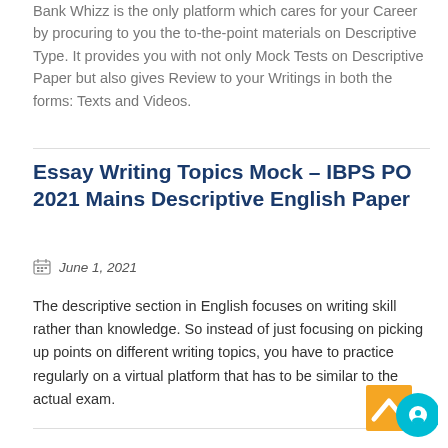Bank Whizz is the only platform which cares for your Career by procuring to you the to-the-point materials on Descriptive Type. It provides you with not only Mock Tests on Descriptive Paper but also gives Review to your Writings in both the forms: Texts and Videos.
Essay Writing Topics Mock – IBPS PO 2021 Mains Descriptive English Paper
June 1, 2021
The descriptive section in English focuses on writing skill rather than knowledge. So instead of just focusing on picking up points on different writing topics, you have to practice regularly on a virtual platform that has to be similar to the actual exam.